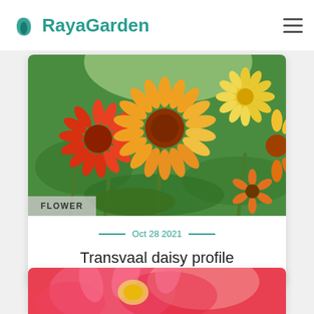RayaGarden
[Figure (photo): Close-up photo of vibrant orange and yellow Transvaal daisy (Gerbera) flowers with green foliage background]
FLOWER
Oct 28 2021
Transvaal daisy profile
[Figure (photo): Partial view of a pink/red flower, second article card beginning at bottom of page]